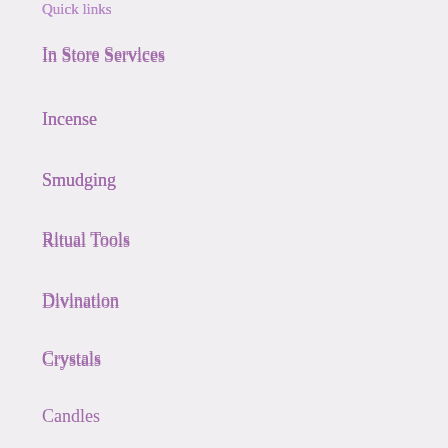Quick links
In Store Services
Incense
Smudging
Ritual Tools
Divination
Crystals
Candles
Herbs & Resins